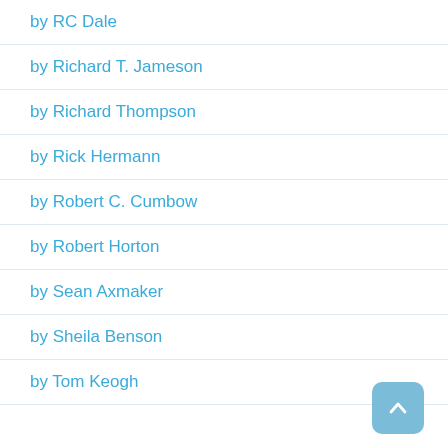by RC Dale
by Richard T. Jameson
by Richard Thompson
by Rick Hermann
by Robert C. Cumbow
by Robert Horton
by Sean Axmaker
by Sheila Benson
by Tom Keogh